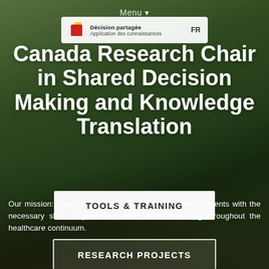Menu
[Figure (screenshot): Navigation overlay showing logo with red and yellow squares, text 'Décision partagée / Application des connaissances' and 'FR' language toggle]
Canada Research Chair in Shared Decision Making and Knowledge Translation
[Figure (photo): Group photo of approximately 30 diverse health professionals and researchers outdoors on grass with green trees in the background]
Our mission: providing health professionals and their patients with the necessary skills to promote shared decision-making throughout the healthcare continuum.
TOOLS & TRAINING
RESEARCH PROJECTS